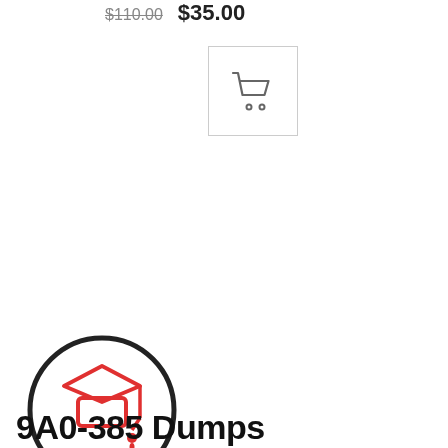$110.00  $35.00
[Figure (illustration): Shopping cart icon in a bordered box (left, smaller)]
[Figure (illustration): Shopping cart icon in a bordered box (right, larger)]
[Figure (illustration): Graduation cap icon inside a dark circle, with a red drip/dot — certification/dumps logo]
9A0-385 Dumps